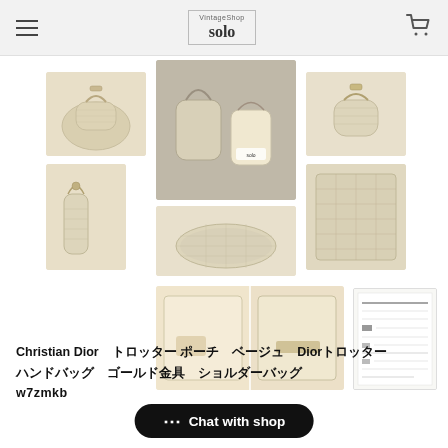VintageShop solo
[Figure (photo): Multiple product photos of a Christian Dior Trotter pattern handbag in beige/cream, shown from multiple angles including front, side, bottom, interior, and close-up details. Also includes a document/authentication card image.]
Christian Dior　トロッター ポーチ　ベージュ　Diorトロッター　ハンドバッグ　ゴールド金具　ショルダーバッグ　w7zmkb